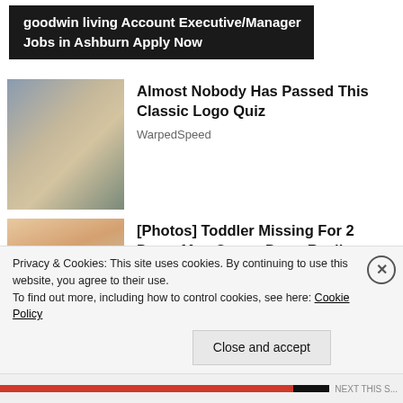[Figure (screenshot): Dark banner advertisement for 'goodwin living Account Executive/Manager Jobs in Ashburn Apply Now']
[Figure (photo): Image of a man dressed in colonial/historical costume with white wig and dark hat, resembling the Quaker Oats mascot]
Almost Nobody Has Passed This Classic Logo Quiz
WarpedSpeed
[Figure (photo): Photo of a young toddler girl with blonde hair and a teal/green shirt, appearing upset or crying]
[Photos] Toddler Missing For 2 Days: Man Opens Door, Realizes Pitbull Had Her
12Up
Privacy & Cookies: This site uses cookies. By continuing to use this website, you agree to their use.
To find out more, including how to control cookies, see here: Cookie Policy
Close and accept